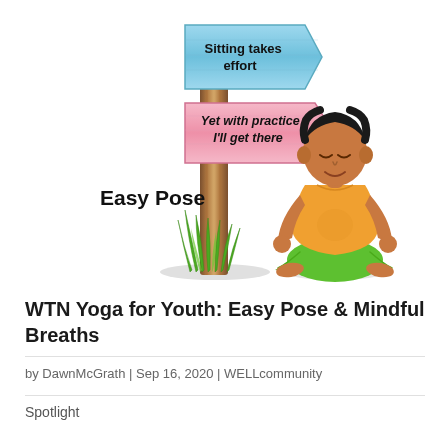[Figure (illustration): Illustration of a wooden signpost with two arrow signs. The top sign is blue/teal and reads 'Sitting takes effort'. The lower sign is pink and reads 'Yet with practice I'll get there'. The text 'Easy Pose' appears to the left of the post. At the base of the post is green grass, and to the right sits a cartoon boy in a yoga meditation pose (crossed legs, hands on knees, eyes closed), wearing an orange shirt and green pants.]
WTN Yoga for Youth: Easy Pose & Mindful Breaths
by DawnMcGrath | Sep 16, 2020 | WELLcommunity
Spotlight